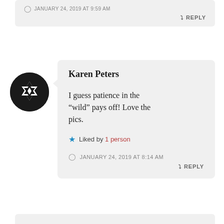JANUARY 24, 2019 AT 9:59 AM
REPLY
[Figure (illustration): Round avatar with black and white geometric star/diamond pattern]
Karen Peters
I guess patience in the “wild” pays off! Love the pics.
Liked by 1 person
JANUARY 24, 2019 AT 8:14 AM
REPLY